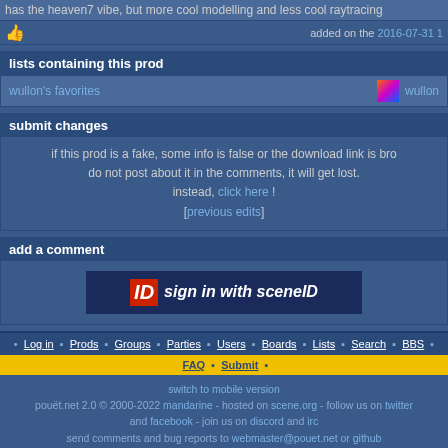has the heaven7 vibe, but more cool modelling and less cool raytracing
added on the 2016-07-31 1
lists containing this prod
wullon's favorites   wullon
submit changes
if this prod is a fake, some info is false or the download link is broken, do not post about it in the comments, it will get lost. instead, click here ! [previous edits]
add a comment
[Figure (screenshot): Sign in with SceneID button - red ID logo on dark navy background with italic white text 'sign in with sceneID']
• Log in • Prods • Groups • Parties • Users • Boards • Lists • Search • BBS •
FAQ • Submit •
switch to mobile version
pouët.net 2.0 © 2000-2022 mandarine - hosted on scene.org - follow us on twitter and facebook - join us on discord and irc
send comments and bug reports to webmaster@pouet.net or github
page created in 0.011183 seconds.